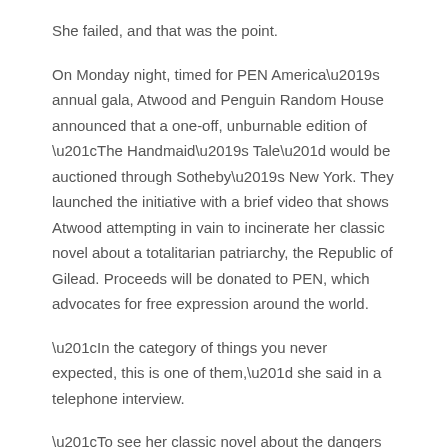She failed, and that was the point.
On Monday night, timed for PEN America’s annual gala, Atwood and Penguin Random House announced that a one-off, unburnable edition of “The Handmaid’s Tale” would be auctioned through Sotheby’s New York. They launched the initiative with a brief video that shows Atwood attempting in vain to incinerate her classic novel about a totalitarian patriarchy, the Republic of Gilead. Proceeds will be donated to PEN, which advocates for free expression around the world.
“In the category of things you never expected, this is one of them,” she said in a telephone interview.
“To see her classic novel about the dangers of oppression reborn in this innovative, unburnable edition is a timely reminder of what’s at stake in the battle against censorship,” Markus Dohle, CEO of Penguin Random House, said in a statement.